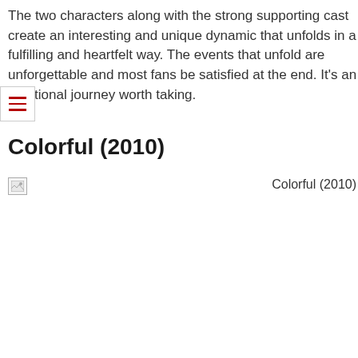The two characters along with the strong supporting cast create an interesting and unique dynamic that unfolds in a fulfilling and heartfelt way. The events that unfold are unforgettable and most fans be satisfied at the end. It's an emotional journey worth taking.
Colorful (2010)
[Figure (photo): Broken image placeholder with caption 'Colorful (2010)']